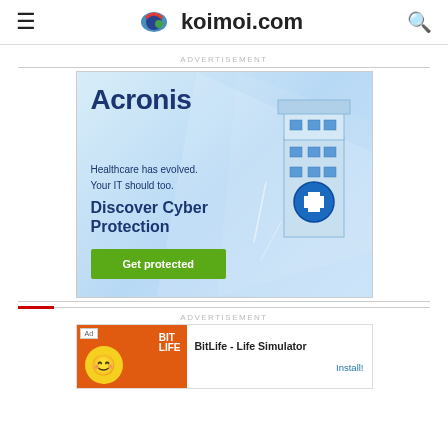koimoi.com
ADVERTISEMENT
[Figure (illustration): Acronis advertisement: 'Healthcare has evolved. Your IT should too. Discover Cyber Protection. Get protected.' with isometric building graphic and blue gradient background.]
ADVERTISEMENT
[Figure (illustration): BitLife - Life Simulator app advertisement with orange/green branding and 'Install!' call to action.]